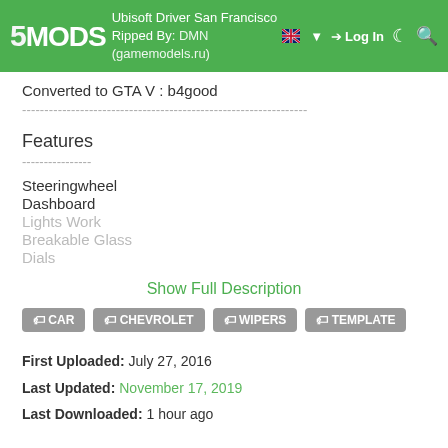5MODS | Ubisoft Driver San Francisco | Log In
Ripped By: DMN (gamemodels.ru)
Converted to GTA V : b4good
----------------------------------------------------------------
Features
----------------
Steeringwheel
Dashboard
Lights Work
Breakable Glass
Dials
Show Full Description
CAR  CHEVROLET  WIPERS  TEMPLATE
First Uploaded: July 27, 2016
Last Updated: November 17, 2019
Last Downloaded: 1 hour ago